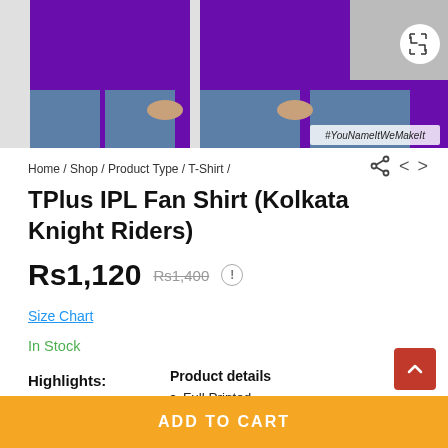[Figure (photo): Two men wearing purple t-shirts, cropped at chest/waist level, with text overlay #YouNameItWeMakeIt]
Home / Shop / Product Type / T-Shirt /
TPlus IPL Fan Shirt (Kolkata Knight Riders)
Rs1,120  Rs1,400  !
Size Chart
In Stock
Highlights:
Product details
Full Printed
Customization service available.
ADD TO CART